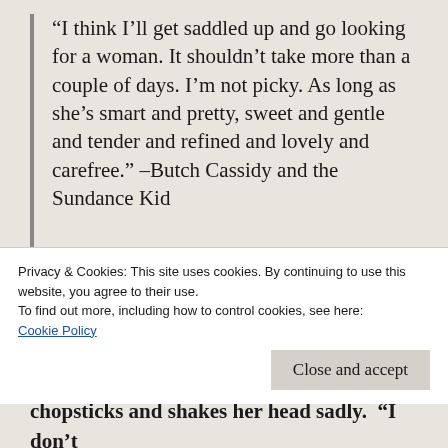“I think I’ll get saddled up and go looking for a woman. It shouldn’t take more than a couple of days. I’m not picky. As long as she’s smart and pretty, sweet and gentle and tender and refined and lovely and carefree.” –Butch Cassidy and the Sundance Kid
I watched the movie The Wolverine while at a hotel in Connecticut. Mariko sat across from
Privacy & Cookies: This site uses cookies. By continuing to use this website, you agree to their use.
To find out more, including how to control cookies, see here:
Cookie Policy
Close and accept
chopsticks and shakes her head sadly.  “I don’t